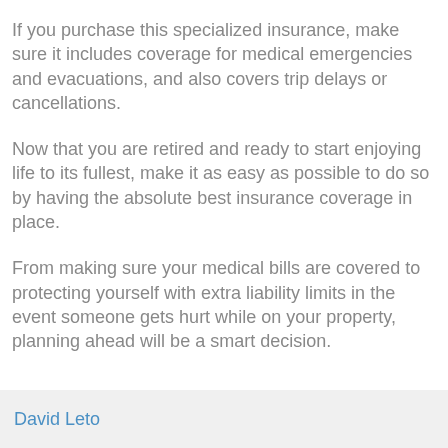If you purchase this specialized insurance, make sure it includes coverage for medical emergencies and evacuations, and also covers trip delays or cancellations.
Now that you are retired and ready to start enjoying life to its fullest, make it as easy as possible to do so by having the absolute best insurance coverage in place.
From making sure your medical bills are covered to protecting yourself with extra liability limits in the event someone gets hurt while on your property, planning ahead will be a smart decision.
David Leto